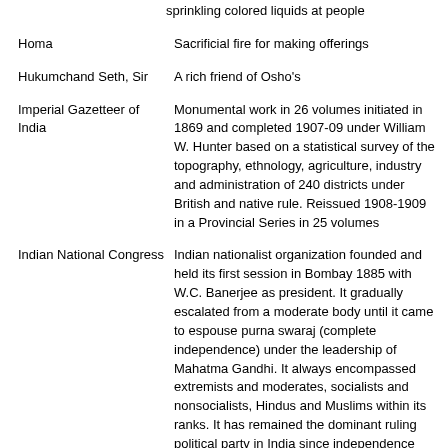sprinkling colored liquids at people
Homa — Sacrificial fire for making offerings
Hukumchand Seth, Sir — A rich friend of Osho's
Imperial Gazetteer of India — Monumental work in 26 volumes initiated in 1869 and completed 1907-09 under William W. Hunter based on a statistical survey of the topography, ethnology, agriculture, industry and administration of 240 districts under British and native rule. Reissued 1908-1909 in a Provincial Series in 25 volumes
Indian National Congress — Indian nationalist organization founded and held its first session in Bombay 1885 with W.C. Banerjee as president. It gradually escalated from a moderate body until it came to espouse purna swaraj (complete independence) under the leadership of Mahatma Gandhi. It always encompassed extremists and moderates, socialists and nonsocialists, Hindus and Muslims within its ranks. It has remained the dominant ruling political party in India since independence and is now often referred to as the Congress Party